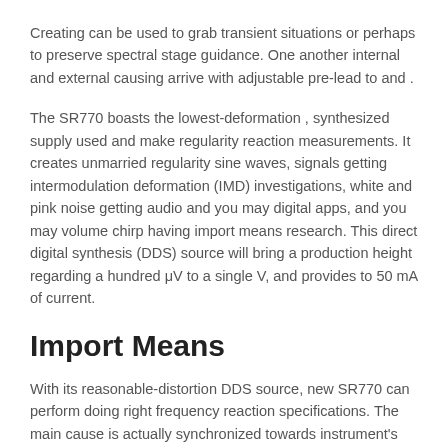Creating can be used to grab transient situations or perhaps to preserve spectral stage guidance. One another internal and external causing arrive with adjustable pre-lead to and .
The SR770 boasts the lowest-deformation , synthesized supply used and make regularity reaction measurements. It creates unmarried regularity sine waves, signals getting intermodulation deformation (IMD) investigations, white and pink noise getting audio and you may digital apps, and you may volume chirp having import means research. This direct digital synthesis (DDS) source will bring a production height regarding a hundred μV to a single V, and provides to 50 mA of current.
Import Means
With its reasonable-distortion DDS source, new SR770 can perform doing right frequency reaction specifications. The main cause is actually synchronized towards instrument's enter in enabling transfer attributes getting mentioned that have 0.05 dB precision. The new net SR770 method also have requisite close relative to